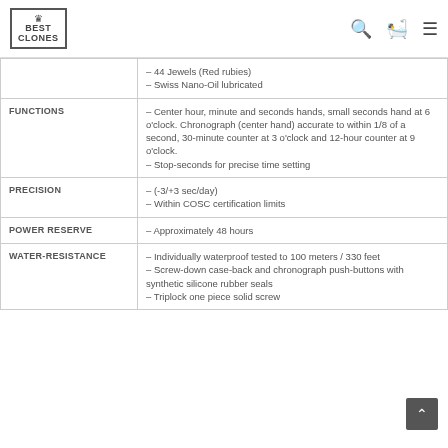BEST CLONES
| Category | Details |
| --- | --- |
|  | – 44 Jewels (Red rubies)
– Swiss Nano-Oil lubricated |
| FUNCTIONS | – Center hour, minute and seconds hands, small seconds hand at 6 o'clock. Chronograph (center hand) accurate to within 1/8 of a second, 30-minute counter at 3 o'clock and 12-hour counter at 9 o'clock.
– Stop-seconds for precise time setting |
| PRECISION | – (-3/+3 sec/day)
– Within COSC certification limits |
| POWER RESERVE | – Approximately 48 hours |
| WATER-RESISTANCE | – Individually waterproof tested to 100 meters / 330 feet
– Screw-down case-back and chronograph push-buttons with synthetic silicone rubber seals
– Triplock one piece solid screw |